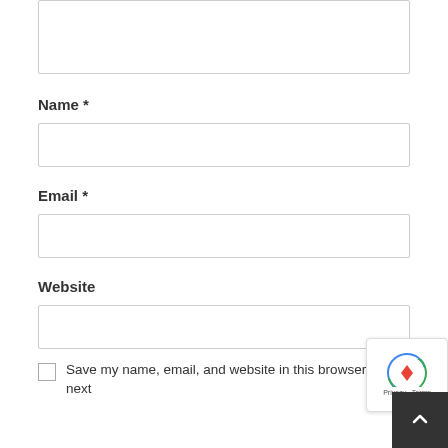[Figure (screenshot): Top portion of a comment/contact form showing an empty textarea field (partially visible at top)]
Name *
[Figure (screenshot): Empty text input field for Name]
Email *
[Figure (screenshot): Empty text input field for Email]
Website
[Figure (screenshot): Empty text input field for Website]
Save my name, email, and website in this browser for the next
[Figure (screenshot): reCAPTCHA badge and back-to-top button overlay in bottom-right corner]